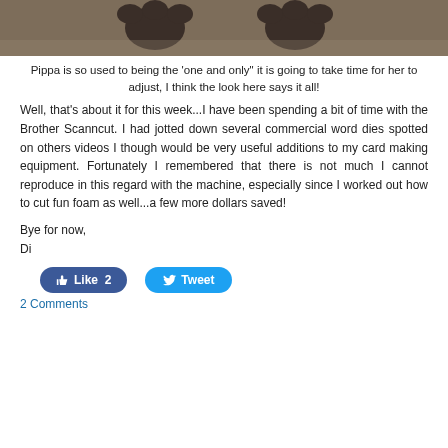[Figure (photo): Close-up photo of animal paws (likely dogs) on sandy/earthy ground. Dark brown paws visible against tan/brown soil background.]
Pippa is so used to being the 'one and only" it is going to take time for her to adjust, I think the look here says it all!
Well, that's about it for this week...I have been spending a bit of time with the Brother Scanncut. I had jotted down several commercial word dies spotted on others videos I though would be very useful additions to my card making equipment. Fortunately I remembered that there is not much I cannot reproduce in this regard with the machine, especially since I worked out how to cut fun foam as well...a few more dollars saved!
Bye for now,
Di
[Figure (screenshot): Social media buttons: blue Facebook Like button showing '2' and blue Twitter Tweet button]
2 Comments